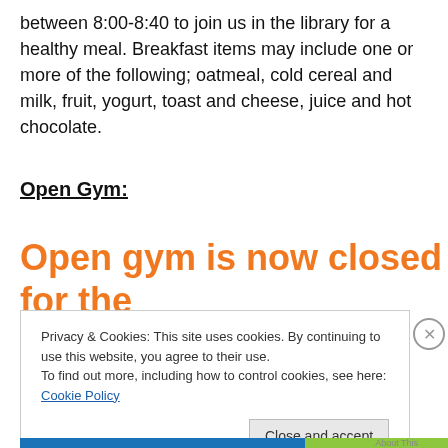between 8:00-8:40 to join us in the library for a healthy meal. Breakfast items may include one or more of the following; oatmeal, cold cereal and milk, fruit, yogurt, toast and cheese, juice and hot chocolate.
Open Gym:
Open gym is now closed for the
Privacy & Cookies: This site uses cookies. By continuing to use this website, you agree to their use. To find out more, including how to control cookies, see here: Cookie Policy